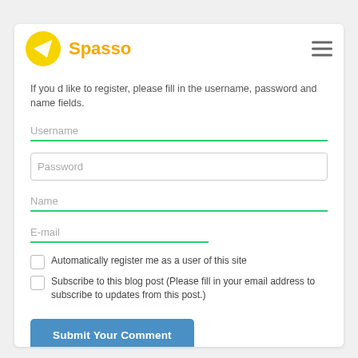[Figure (logo): Spasso logo: yellow circle with paper airplane icon and orange text 'Spasso']
If you d like to register, please fill in the username, password and name fields.
Username
Password
Name
E-mail
Automatically register me as a user of this site
Subscribe to this blog post (Please fill in your email address to subscribe to updates from this post.)
Submit Your Comment